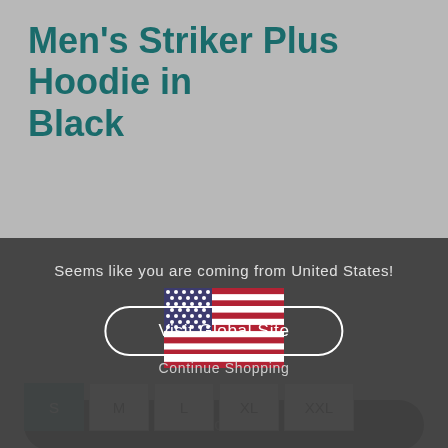Men's Striker Plus Hoodie in Black
Seems like you are coming from United States!
[Figure (illustration): US flag emoji/illustration]
Visit Global Site
Continue Shopping
S  M  L  XL  XXL
Select Size